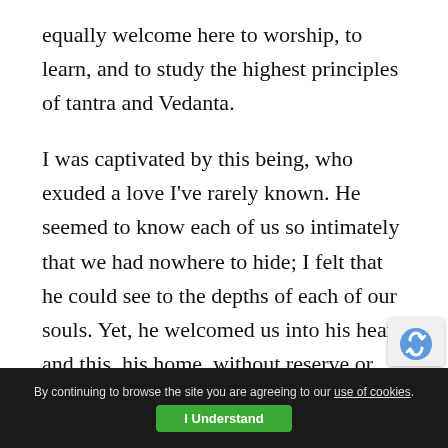equally welcome here to worship, to learn, and to study the highest principles of tantra and Vedanta.
I was captivated by this being, who exuded a love I've rarely known. He seemed to know each of us so intimately that we had nowhere to hide; I felt that he could see to the depths of each of our souls. Yet, he welcomed us into his heart and this, his home, without reserve or judgment. He readily and patiently answered questions in his characteristic storyteller's way, here poking fun at someone in a good-hearted manner, and there asking a visitor if he had eaten. He laughed aloud at jokes, cracking many of his own and making u
By continuing to browse the site you are agreeing to our use of cookies. I Understand